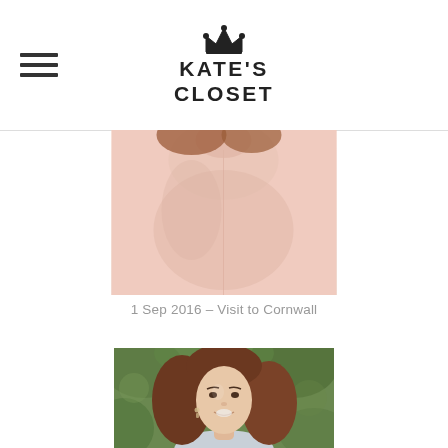KATE'S CLOSET
[Figure (photo): Photo of Kate in a blush pink outfit, cropped to torso and lower face, from her Visit to Cornwall]
1 Sep 2016 – Visit to Cornwall
[Figure (photo): Portrait photo of Kate Middleton smiling, wearing drop earrings, with brunette hair, green foliage background]